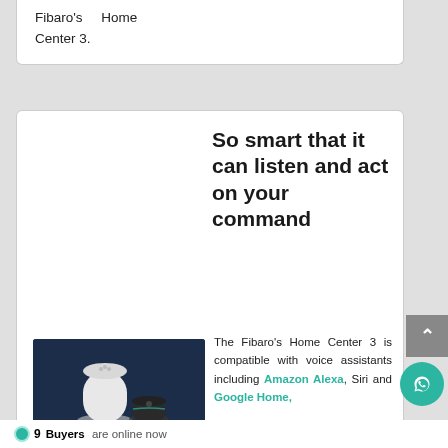Fibaro's Home Center 3.
So smart that it can listen and act on your command
[Figure (photo): Two smart home voice assistant speakers: a tall white Google Home and a smaller black Amazon Echo Dot, on a dark background.]
The Fibaro's Home Center 3 is compatible with voice assistants including Amazon Alexa, Siri and Google Home,
9 Buyers are online now